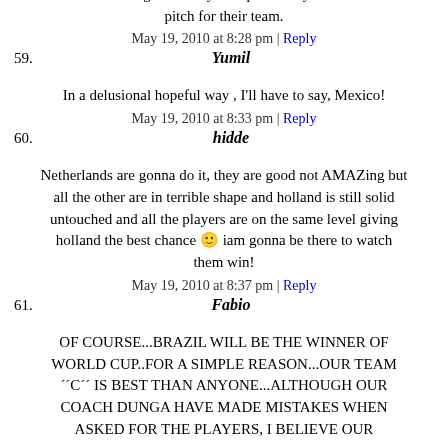C) Passion/ Belief/ Courage: 3 teams: Diego's Argentina, Ronaldo's Portugal and Puyol's Spain. They will die on the pitch for their team.
May 19, 2010 at 8:28 pm | Reply
59. Yumil
In a delusional hopeful way , I'll have to say, Mexico!
May 19, 2010 at 8:33 pm | Reply
60. hidde
Netherlands are gonna do it, they are good not AMAZing but all the other are in terrible shape and holland is still solid untouched and all the players are on the same level giving holland the best chance 🙂 iam gonna be there to watch them win!
May 19, 2010 at 8:37 pm | Reply
61. Fabio
OF COURSE...BRAZIL WILL BE THE WINNER OF WORLD CUP..FOR A SIMPLE REASON...OUR TEAM ´´C´´ IS BEST THAN ANYONE...ALTHOUGH OUR COACH DUNGA HAVE MADE MISTAKES WHEN ASKED FOR THE PLAYERS, I BELIEVE OUR